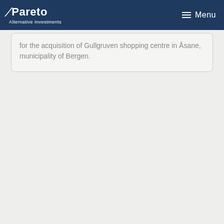Pareto Alternative Investments | Menu
for the acquisition of Gullgruven shopping centre in Åsane, municipality of Bergen.